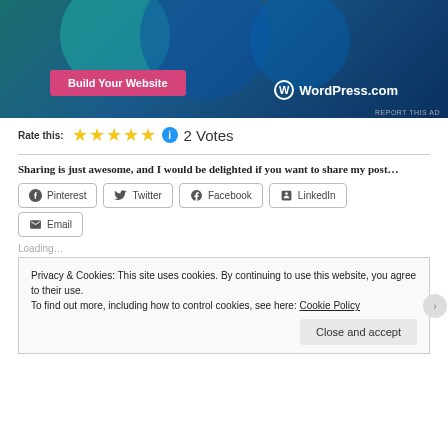[Figure (screenshot): WordPress.com advertisement banner with blue/teal gradient background and circles, showing 'Build Your Website' pink button and WordPress.com logo]
Rate this:  ★★★★★  2 Votes
Sharing is just awesome, and I would be delighted if you want to share my post...
Pinterest
Twitter
Facebook
LinkedIn
Email
Loading...
Privacy & Cookies: This site uses cookies. By continuing to use this website, you agree to their use.
To find out more, including how to control cookies, see here: Cookie Policy